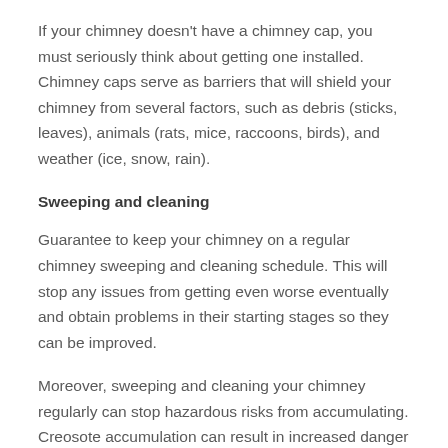If your chimney doesn't have a chimney cap, you must seriously think about getting one installed. Chimney caps serve as barriers that will shield your chimney from several factors, such as debris (sticks, leaves), animals (rats, mice, raccoons, birds), and weather (ice, snow, rain).
Sweeping and cleaning
Guarantee to keep your chimney on a regular chimney sweeping and cleaning schedule. This will stop any issues from getting even worse eventually and obtain problems in their starting stages so they can be improved.
Moreover, sweeping and cleaning your chimney regularly can stop hazardous risks from accumulating. Creosote accumulation can result in increased danger of house fires together with exposure to hazardous elements like ash and carbon